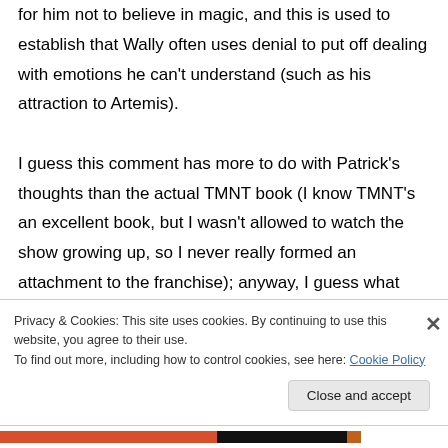for him not to believe in magic, and this is used to establish that Wally often uses denial to put off dealing with emotions he can't understand (such as his attraction to Artemis).

I guess this comment has more to do with Patrick's thoughts than the actual TMNT book (I know TMNT's an excellent book, but I wasn't allowed to watch the show growing up, so I never really formed an attachment to the franchise); anyway, I guess what bugs me about
Privacy & Cookies: This site uses cookies. By continuing to use this website, you agree to their use.
To find out more, including how to control cookies, see here: Cookie Policy